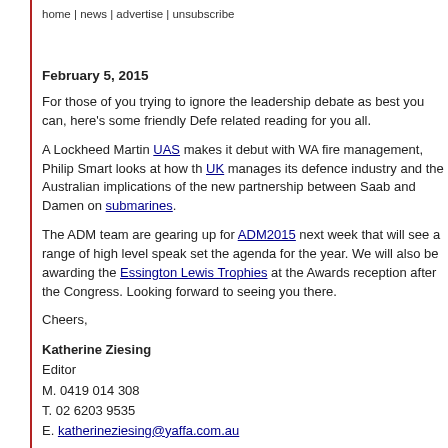home | news | advertise | unsubscribe
February 5, 2015
For those of you trying to ignore the leadership debate as best you can, here’s some friendly Defence related reading for you all.
A Lockheed Martin UAS makes it debut with WA fire management, Philip Smart looks at how the UK manages its defence industry and the Australian implications of the new partnership between Saab and Damen on submarines.
The ADM team are gearing up for ADM2015 next week that will see a range of high level speakers set the agenda for the year. We will also be awarding the Essington Lewis Trophies at the Awards reception after the Congress. Looking forward to seeing you there.
Cheers,
Katherine Ziesing
Editor
M. 0419 014 308
T. 02 6203 9535
E. katherineziesing@yaffa.com.au
Lockheed Martin UAS for WA fire management?
Western Australia’s Department of Fire and Emergency Services (DFES) may contract a small unmanned aerial system (UAS) for use in emergencies  more»
How the UK does Defence